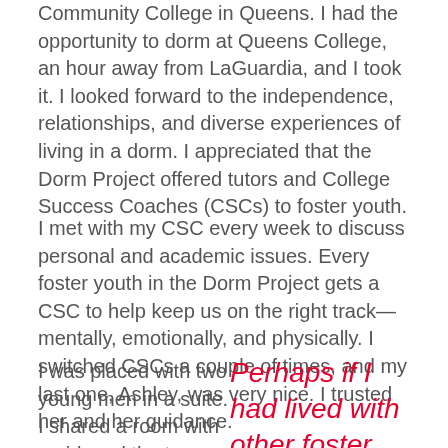Community College in Queens. I had the opportunity to dorm at Queens College, an hour away from LaGuardia, and I took it. I looked forward to the independence, relationships, and diverse experiences of living in a dorm. I appreciated that the Dorm Project offered tutors and College Success Coaches (CSCs) to foster youth.
I met with my CSC every week to discuss personal and academic issues. Every foster youth in the Dorm Project gets a CSC to help keep us on the right track—mentally, emotionally, and physically. I switched CSCs a couple of times, and my last one, Ashley, was very nice. I trusted her and her guidance.
I was placed with two young men in a suite. I shared a room with a girl, and the two boys shared a room on the other side of the suite.
Perhaps if I had lived with other foster youth, I'd have been better